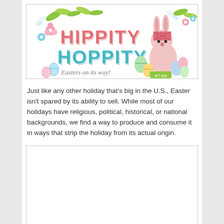[Figure (illustration): Colorful Easter-themed banner reading 'HIPPITY HOPPITY Easters on its way!' with a bunny character, Easter eggs, flowers, and butterflies. Date 4/7-4/8 visible.]
Just like any other holiday that’s big in the U.S., Easter isn’t spared by its ability to sell. While most of our holidays have religious, political, historical, or national backgrounds, we find a way to produce and consume it in ways that strip the holiday from its actual origin.
[Figure (other): Empty white box with border — placeholder for a second image.]